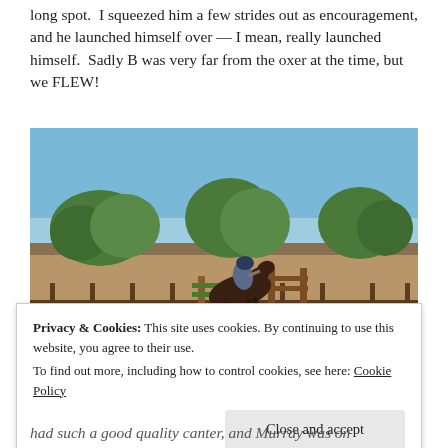long spot.  I squeezed him a few strides out as encouragement, and he launched himself over — I mean, really launched himself.  Sadly B was very far from the oxer at the time, but we FLEW!
[Figure (photo): A horse and rider jumping over a wooden oxer fence in an outdoor arena with trees and a fence in the background under a clear blue sky.]
Privacy & Cookies: This site uses cookies. By continuing to use this website, you agree to their use.
To find out more, including how to control cookies, see here: Cookie Policy
Close and accept
had such a good quality canter, and Murray was on